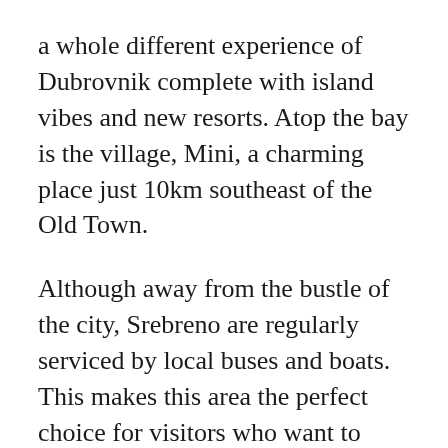a whole different experience of Dubrovnik complete with island vibes and new resorts. Atop the bay is the village, Mini, a charming place just 10km southeast of the Old Town.
Although away from the bustle of the city, Srebreno are regularly serviced by local buses and boats. This makes this area the perfect choice for visitors who want to take a plunge in the Azure and relax on the beach away from the crowds whilst making occasional trips to the centre for some sightseeing.